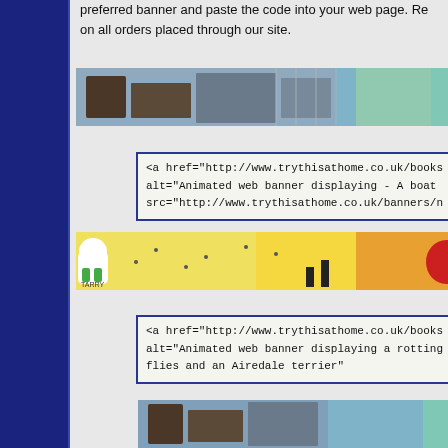preferred banner and paste the code into your web page. Re on all orders placed through our site.
[Figure (illustration): Animated web banner showing boat/industrial scene with watercolor style artwork]
<a href="http://www.trythisathome.co.uk/books alt="Animated web banner displaying - A boat src="http://www.trythisathome.co.uk/banners/n
[Figure (illustration): Animated web banner displaying a rotting scene with flies and an Airedale terrier on yellow background]
<a href="http://www.trythisathome.co.uk/books alt="Animated web banner displaying a rotting flies and an Airedale terrier"
[Figure (illustration): Bottom partial banner showing boat/industrial scene similar to first banner]